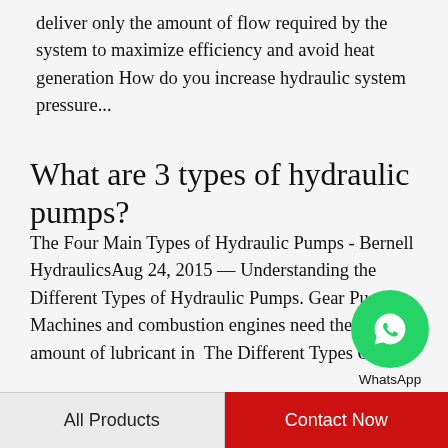deliver only the amount of flow required by the system to maximize efficiency and avoid heat generation How do you increase hydraulic system pressure...
What are 3 types of hydraulic pumps?
The Four Main Types of Hydraulic Pumps - Bernell HydraulicsAug 24, 2015 — Understanding the Different Types of Hydraulic Pumps. Gear Pu Machines and combustion engines need the ri amount of lubricant in  The Different Types Of
[Figure (logo): WhatsApp green circle logo with phone icon and text 'WhatsApp Online']
Recommended Products
[Figure (photo): Blue hydraulic pump component, left product]
[Figure (photo): Blue hydraulic pump component with attachments, right product]
All Products
Contact Now